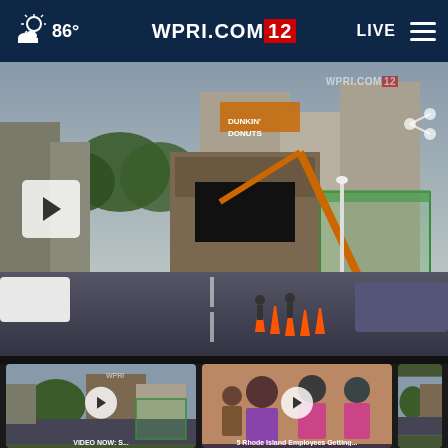86° WPRI.COM 12 LIVE ≡
[Figure (screenshot): Street scene video thumbnail showing a city street with construction crane, traffic cones, Dunkin Donuts sign, and a transit shelter. Large play button overlay. WPRI.COM/12 watermark and share icon visible.]
[Figure (screenshot): Thumbnail of city street scene with WPRI watermark and play button]
[Figure (screenshot): Thumbnail of courtroom scene with people seated, play button overlay]
[Figure (screenshot): Partial thumbnail of another video]
VIDEO NOW: S...
5 Rhode Island Employees Getting...
...